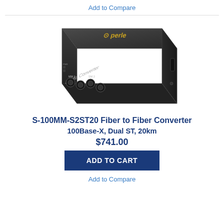Add to Compare
[Figure (photo): Perle S-100MM-S2ST20 Media Converter hardware device, dark grey/black box with ST fiber connectors on front, Perle logo on top, viewed at an angle from above.]
S-100MM-S2ST20 Fiber to Fiber Converter
100Base-X, Dual ST, 20km
$741.00
ADD TO CART
Add to Compare